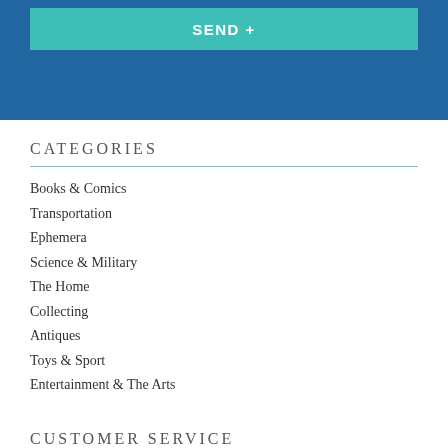[Figure (other): Teal SEND + button on blue header background]
CATEGORIES
Books & Comics
Transportation
Ephemera
Science & Military
The Home
Collecting
Antiques
Toys & Sport
Entertainment & The Arts
CUSTOMER SERVICE
Delivery & Returns